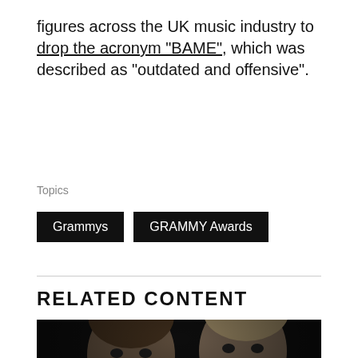figures across the UK music industry to drop the acronym “BAME”, which was described as “outdated and offensive”.
Topics
Grammys
GRAMMY Awards
RELATED CONTENT
[Figure (photo): Black and white portrait photograph of two men against a dark background. Left man has brown hair and beard, right man has lighter/blonde hair.]